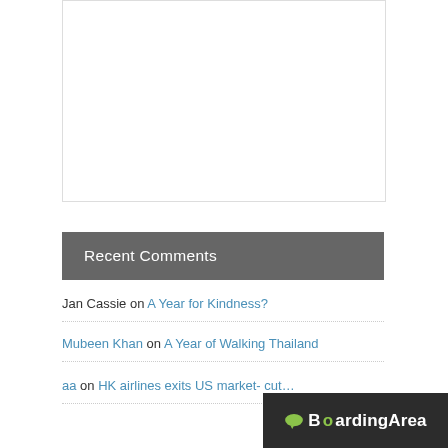[Figure (other): White rectangular box with light border, representing an advertisement or empty content block]
Recent Comments
Jan Cassie on A Year for Kindness?
Mubeen Khan on A Year of Walking Thailand
aa on HK airlines exits US market- cut…
[Figure (logo): BoardingArea logo badge with speech bubble icon on dark background]